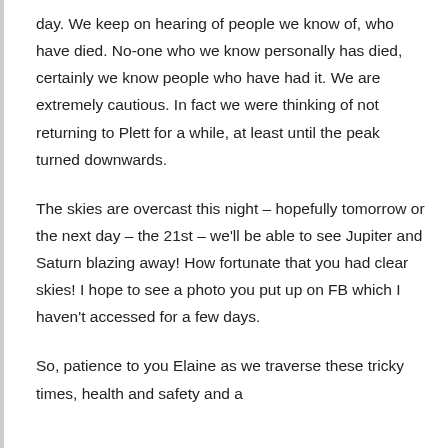day. We keep on hearing of people we know of, who have died. No-one who we know personally has died, certainly we know people who have had it. We are extremely cautious. In fact we were thinking of not returning to Plett for a while, at least until the peak turned downwards.
The skies are overcast this night – hopefully tomorrow or the next day – the 21st – we'll be able to see Jupiter and Saturn blazing away! How fortunate that you had clear skies! I hope to see a photo you put up on FB which I haven't accessed for a few days.
So, patience to you Elaine as we traverse these tricky times, health and safety and a